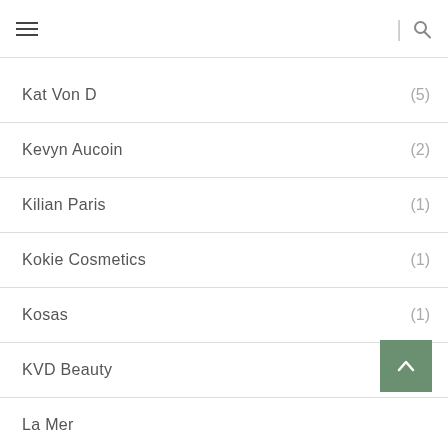navigation header with hamburger menu and search icon
Kat Von D (5)
Kevyn Aucoin (2)
Kilian Paris (1)
Kokie Cosmetics (1)
Kosas (1)
KVD Beauty (1)
La Mer
La Prairie (1)